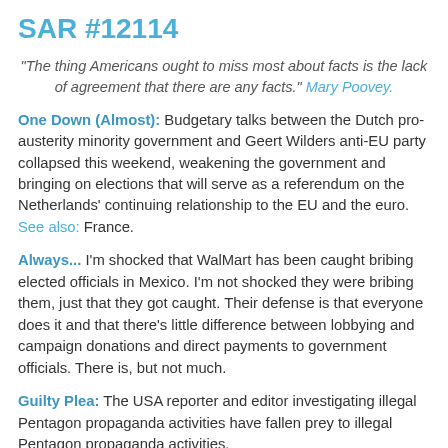SAR #12114
“The thing Americans ought to miss most about facts is the lack of agreement that there are any facts.” Mary Poovey.
One Down (Almost): Budgetary talks between the Dutch pro-austerity minority government and Geert Wilders anti-EU party collapsed this weekend, weakening the government and bringing on elections that will serve as a referendum on the Netherlands’ continuing relationship to the EU and the euro. See also: France.
Always... I’m shocked that WalMart has been caught bribing elected officials in Mexico. I’m not shocked they were bribing them, just that they got caught. Their defense is that everyone does it and that there’s little difference between lobbying and campaign donations and direct payments to government officials. There is, but not much.
Guilty Plea: The USA reporter and editor investigating illegal Pentagon propaganda activities have fallen prey to illegal Pentagon propaganda activities.